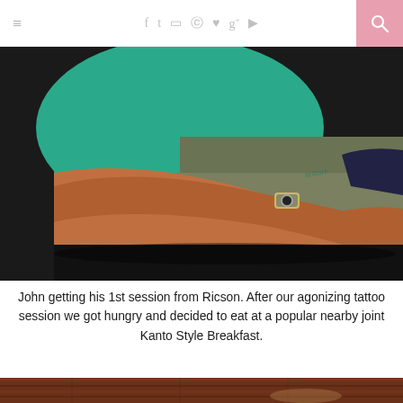≡  f  t  ☐  ⊙  ♥  g+  ▶  🔍
[Figure (photo): A person sitting wearing a teal green shirt and olive/gray cargo pants, with a watch on their wrist, arm resting on a dark surface. A tattoo session setting.]
John getting his 1st session from Ricson. After our agonizing tattoo session we got hungry and decided to eat at a popular nearby joint Kanto Style Breakfast.
[Figure (photo): Partial view of a wooden table surface, dark reddish-brown color.]